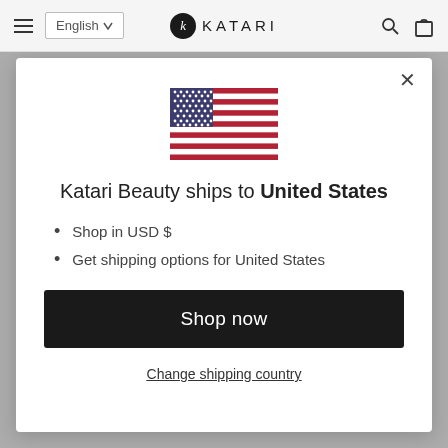≡ English ∨  k KATARI  🔍 🛍
[Figure (illustration): US flag emoji/illustration inside a modal dialog]
Katari Beauty ships to United States
Shop in USD $
Get shipping options for United States
Shop now
Change shipping country